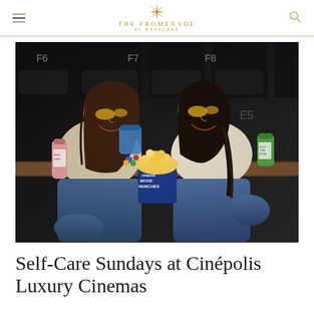The Promenade at Westlake
[Figure (photo): Two young women sitting in luxury recliner cinema seats, both smiling and wearing gold under-eye patches. The woman on the left holds a small blue candy bag with M&Ms spilling out and has a pink beverage bottle on the armrest. The woman on the right holds a green CBD soda can. Between them is a blue Cinépolis Movie Munchies popcorn bucket with popcorn. The cinema seats are black leather recliners labeled F6, F7, F8 in the background.]
Self-Care Sundays at Cinépolis Luxury Cinemas